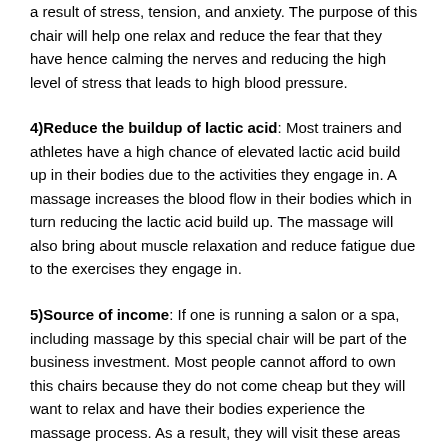a result of stress, tension, and anxiety. The purpose of this chair will help one relax and reduce the fear that they have hence calming the nerves and reducing the high level of stress that leads to high blood pressure.
4)Reduce the buildup of lactic acid: Most trainers and athletes have a high chance of elevated lactic acid build up in their bodies due to the activities they engage in. A massage increases the blood flow in their bodies which in turn reducing the lactic acid build up. The massage will also bring about muscle relaxation and reduce fatigue due to the exercises they engage in.
5)Source of income: If one is running a salon or a spa, including massage by this special chair will be part of the business investment. Most people cannot afford to own this chairs because they do not come cheap but they will want to relax and have their bodies experience the massage process. As a result, they will visit these areas that offer massage for